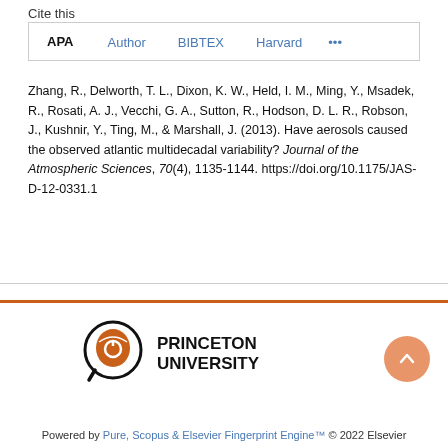Cite this
APA  Author  BIBTEX  Harvard  ...
Zhang, R., Delworth, T. L., Dixon, K. W., Held, I. M., Ming, Y., Msadek, R., Rosati, A. J., Vecchi, G. A., Sutton, R., Hodson, D. L. R., Robson, J., Kushnir, Y., Ting, M., & Marshall, J. (2013). Have aerosols caused the observed atlantic multidecadal variability? Journal of the Atmospheric Sciences, 70(4), 1135-1144. https://doi.org/10.1175/JAS-D-12-0331.1
[Figure (logo): Princeton University logo with magnifying glass icon and bold text PRINCETON UNIVERSITY]
Powered by Pure, Scopus & Elsevier Fingerprint Engine™ © 2022 Elsevier